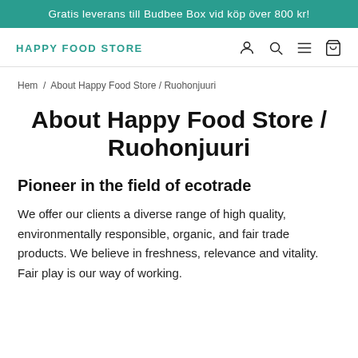Gratis leverans till Budbee Box vid köp över 800 kr!
HAPPY FOOD STORE
Hem / About Happy Food Store / Ruohonjuuri
About Happy Food Store / Ruohonjuuri
Pioneer in the field of ecotrade
We offer our clients a diverse range of high quality, environmentally responsible, organic, and fair trade products. We believe in freshness, relevance and vitality. Fair play is our way of working.